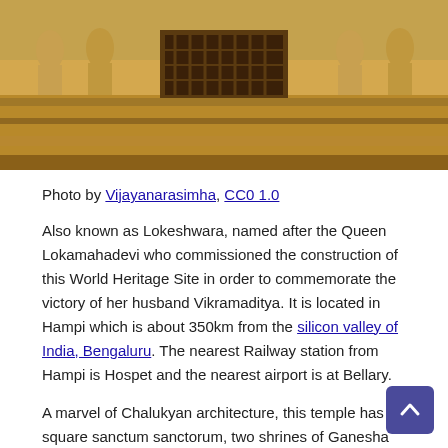[Figure (photo): Temple facade photo showing intricately carved stone figures and architecture, attributed to Vijayanarasimha]
Photo by Vijayanarasimha, CC0 1.0
Also known as Lokeshwara, named after the Queen Lokamahadevi who commissioned the construction of this World Heritage Site in order to commemorate the victory of her husband Vikramaditya. It is located in Hampi which is about 350km from the silicon valley of India, Bengaluru. The nearest Railway station from Hampi is Hospet and the nearest airport is at Bellary.
A marvel of Chalukyan architecture, this temple has a square sanctum sanctorum, two shrines of Ganesha and Mahishasuramardhini. This temple has intricately carved figures on its high prakara walls. There are a number of inscriptions engraved in different parts of the temple which are amazing. The